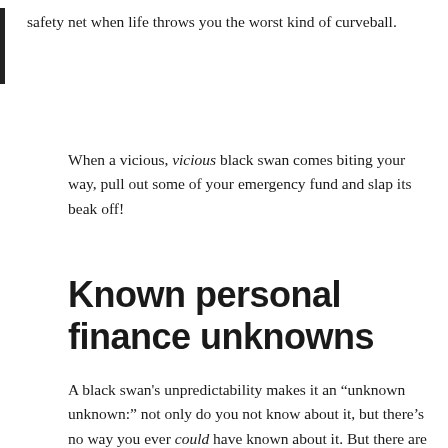safety net when life throws you the worst kind of curveball.
When a vicious, vicious black swan comes biting your way, pull out some of your emergency fund and slap its beak off!
Known personal finance unknowns
A black swan's unpredictability makes it an “unknown unknown:” not only do you not know about it, but there’s no way you ever could have known about it. But there are plenty of ideas that are known, yet you and I might not know about them. These are known unknowns.